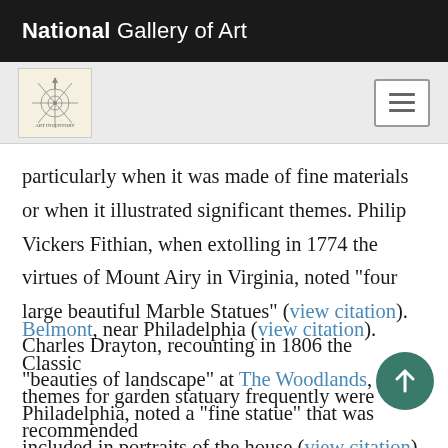National Gallery of Art
[Figure (logo): National Gallery of Art decorative logo/seal with compass-like design on cream background, and hamburger menu button on right]
particularly when it was made of fine materials or when it illustrated significant themes. Philip Vickers Fithian, when extolling in 1774 the virtues of Mount Airy in Virginia, noted "four large beautiful Marble Statues" (view citation). Charles Drayton, recounting in 1806 the "beauties of landscape" at The Woodlands, near Philadelphia, noted a "fine statue" that was included in portraits of the house (view citation). Hannah Callender, writing in 1762, called attention to the statues of mythological subjects at Judge William Peters's estate Belmont, near Philadelphia (view citation). Classical themes for garden statuary frequently were recommended